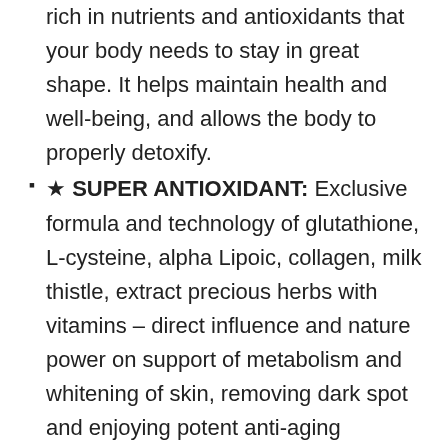rich in nutrients and antioxidants that your body needs to stay in great shape. It helps maintain health and well-being, and allows the body to properly detoxify.
★ SUPER ANTIOXIDANT: Exclusive formula and technology of glutathione, L-cysteine, alpha Lipoic, collagen, milk thistle, extract precious herbs with vitamins – direct influence and nature power on support of metabolism and whitening of skin, removing dark spot and enjoying potent anti-aging properties.
★ SKIN HEALTH & ANTI-AGING: Many experts call reduced glutathione the mother of all antioxidants, since it supports the function of other antioxidants in the body. This helps fight oxidative damage and prevent signs of aging. While helping rid the body of free radicals, glutathione also aids the immune system and helps detoxify the liver. Glutathione may also inhibit the production of melanin, and can be used for whitening the skin and reducing age